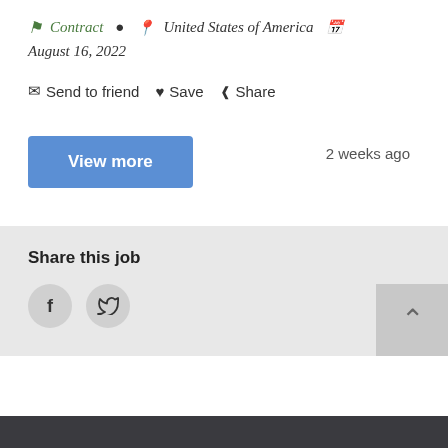Contract · United States of America · August 16, 2022
Send to friend · Save · Share
View more
2 weeks ago
Share this job
[Figure (other): Facebook and Twitter social share icon buttons (circular grey buttons with f and bird icons)]